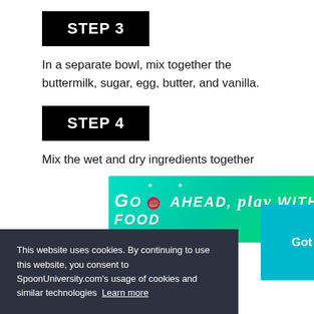STEP 3
In a separate bowl, mix together the buttermilk, sugar, egg, butter, and vanilla.
STEP 4
Mix the wet and dry ingredients together
[Figure (other): Advertisement banner: GO AHEAD, play WITH YOUR FOOD on teal/green gradient background with sparkle decorations and close button]
an, filling about
tter into a the batter into the pan.
This website uses cookies. By continuing to use this website, you consent to SpoonUniversity.com's usage of cookies and similar technologies Learn more